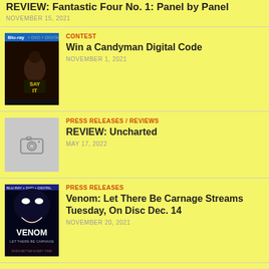REVIEW: Fantastic Four No. 1: Panel by Panel
NOVEMBER 15, 2021
CONTEST
Win a Candyman Digital Code
NOVEMBER 1, 2021
[Figure (photo): Candyman Blu-ray cover showing a figure with 'SAY IT' text]
PRESS RELEASES / REVIEWS
REVIEW: Uncharted
MAY 17, 2022
[Figure (photo): Placeholder image with camera icon]
PRESS RELEASES
Venom: Let There Be Carnage Streams Tuesday, On Disc Dec. 14
NOVEMBER 20, 2021
[Figure (photo): Venom: Let There Be Carnage Blu-ray cover]
COLUMNS / MICHAEL DAVIS
[Figure (photo): Dark image with candle/flame at bottom]